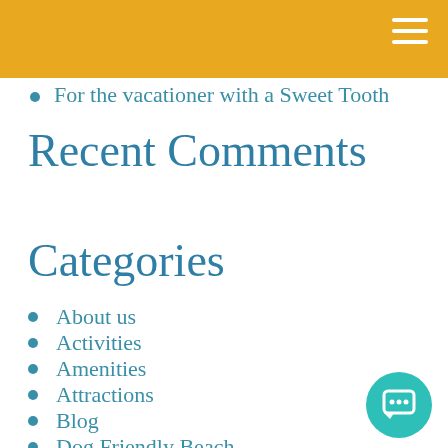For the vacationer with a Sweet Tooth
Recent Comments
Categories
About us
Activities
Amenities
Attractions
Blog
Dog Friendly Beach
Events
Festivals